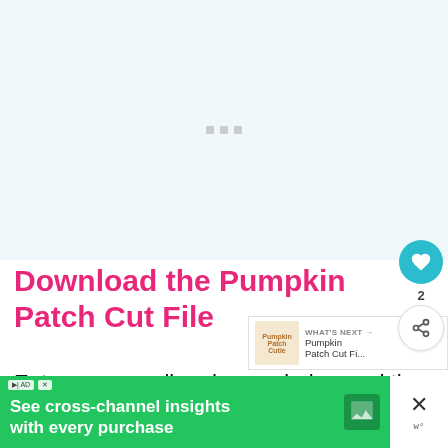[Figure (illustration): Light blue/white image placeholder area with three small gray square dots centered, representing a loading or placeholder image region]
Download the Pumpkin Patch Cut File
Enter your email and name below and th...
[Figure (infographic): Green advertisement banner reading 'See cross-channel insights with every purchase' with a chat bubble icon and a close button on the right]